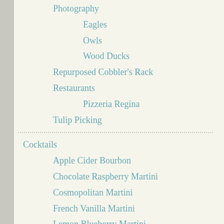Photography
Eagles
Owls
Wood Ducks
Repurposed Cobbler's Rack
Restaurants
Pizzeria Regina
Tulip Picking
Cocktails
Apple Cider Bourbon
Chocolate Raspberry Martini
Cosmopolitan Martini
French Vanilla Martini
Lemon Blueberry Martini